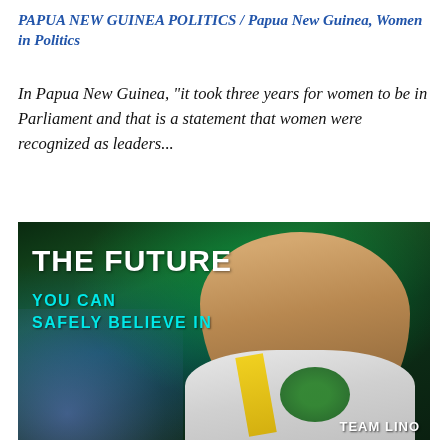PAPUA NEW GUINEA POLITICS / Papua New Guinea, Women in Politics
In Papua New Guinea, "it took three years for women to be in Parliament and that is a statement that women were recognized as leaders...
[Figure (photo): Political campaign photo showing a man with text overlay reading 'THE FUTURE YOU CAN SAFELY BELIEVE IN' and 'TEAM LINO' branding at the bottom right. The man is wearing a white shirt with a yellow sash and green garland, set against a green-lit background.]